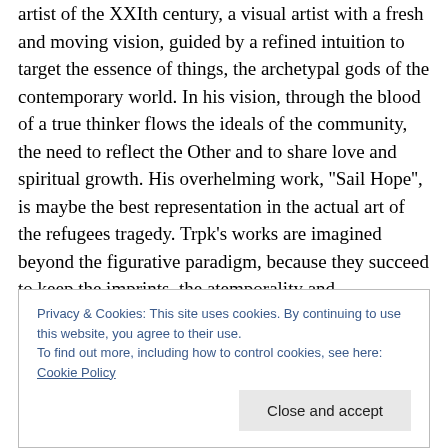artist of the XXIth century, a visual artist with a fresh and moving vision, guided by a refined intuition to target the essence of things, the archetypal gods of the contemporary world. In his vision, through the blood of a true thinker flows the ideals of the community, the need to reflect the Other and to share love and spiritual growth. His overhelming work, ''Sail Hope'', is maybe the best representation in the actual art of the refugees tragedy. Trpk's works are imagined beyond the figurative paradigm, because they succeed to keep the imprints, the atemporality and monumentality of the best achievements
Privacy & Cookies: This site uses cookies. By continuing to use this website, you agree to their use.
To find out more, including how to control cookies, see here: Cookie Policy